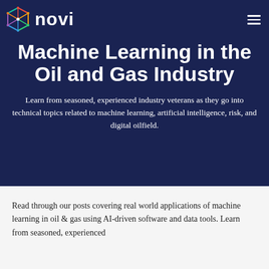[Figure (logo): Novi logo with colorful geometric hexagon-like icon and white 'novi' wordmark on dark navy background]
Machine Learning in the Oil and Gas Industry
Learn from seasoned, experienced industry veterans as they go into technical topics related to machine learning, artificial intelligence, risk, and digital oilfield.
Read through our posts covering real world applications of machine learning in oil & gas using AI-driven software and data tools. Learn from seasoned, experienced